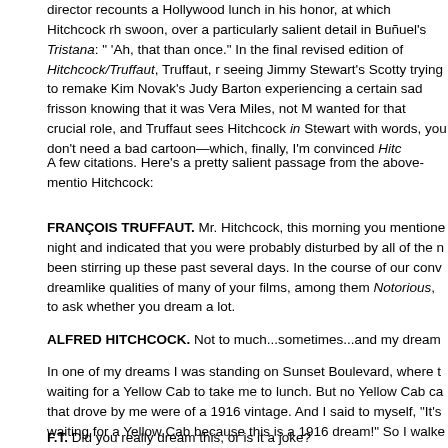director recounts a Hollywood lunch in his honor, at which Hitchcock rh swoon, over a particularly salient detail in Buñuel's Tristana: " 'Ah, that than once." In the final revised edition of Hitchcock/Truffaut, Truffaut, r seeing Jimmy Stewart's Scotty trying to remake Kim Novak's Judy Barton experiencing a certain sad frisson knowing that it was Vera Miles, not M wanted for that crucial role, and Truffaut sees Hitchcock in Stewart with words, you don't need a bad cartoon—which, finally, I'm convinced Hitc
A few citations. Here's a pretty salient passage from the above-mentio Hitchcock:
FRANÇOIS TRUFFAUT. Mr. Hitchcock, this morning you mentione night and indicated that you were probably disturbed by all of the n been stirring up these past several days. In the course of our conv dreamlike qualities of many of your films, among them Notorious, to ask whether you dream a lot.
ALFRED HITCHCOCK. Not to much...sometimes...and my dream
In one of my dreams I was standing on Sunset Boulevard, where t waiting for a Yellow Cab to take me to lunch. But no Yellow Cab ca that drove by me were of a 1916 vintage. And I said to myself, "It's waiting for a Yellow Cab because this is a 1916 dream!" So I walke
F.T. Did you really dream this, or is it a joke?